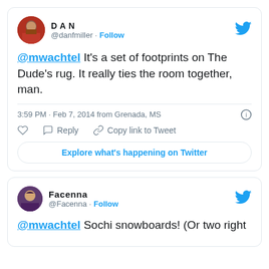[Figure (screenshot): Tweet from @danfmiller (DAN) with avatar, Follow button, Twitter bird icon. Tweet text: '@mwachtel It's a set of footprints on The Dude's rug. It really ties the room together, man.' Posted 3:59 PM · Feb 7, 2014 from Grenada, MS. Actions: like, Reply, Copy link to Tweet. Button: Explore what's happening on Twitter.]
[Figure (screenshot): Partial tweet from @Facenna with avatar, Follow button, Twitter bird icon. Tweet text starts: '@mwachtel Sochi snowboards! (Or two right']